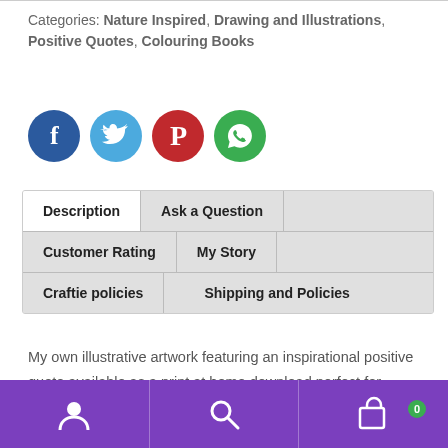Categories: Nature Inspired, Drawing and Illustrations, Positive Quotes, Colouring Books
[Figure (infographic): Four social media share buttons: Facebook (dark blue circle with f icon), Twitter (light blue circle with bird icon), Pinterest (red circle with P icon), WhatsApp (green circle with phone icon)]
[Figure (screenshot): Tab navigation with six tabs: Description (white/active), Ask a Question, Customer Rating, My Story, Craftie policies, Shipping and Policies]
My own illustrative artwork featuring an inspirational positive quote available as a print at home download perfect for mindfulness colouring exercises for adults.
Footer navigation bar with user icon, search icon, and shopping bag icon with badge showing 0